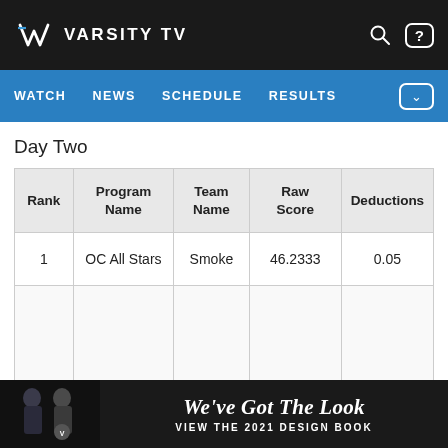VARSITY TV — WATCH | NEWS | SCHEDULE | RESULTS
Day Two
| Rank | Program Name | Team Name | Raw Score | Deductions |
| --- | --- | --- | --- | --- |
| 1 | OC All Stars | Smoke | 46.2333 | 0.05 |
|  |  |  |  |  |
[Figure (screenshot): We've Got The Look — VIEW THE 2021 DESIGN BOOK advertisement banner with two cheerleaders]